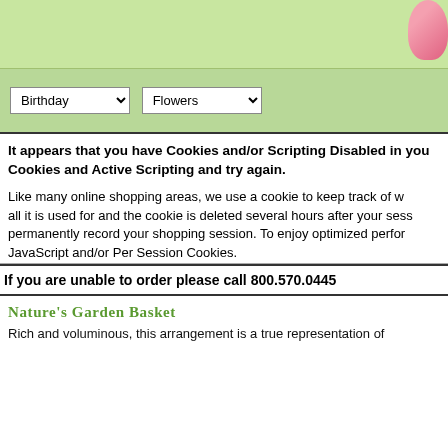[Figure (illustration): Green banner header with pink flower image in top right corner]
Birthday [dropdown] Flowers [dropdown]
It appears that you have Cookies and/or Scripting Disabled in your browser. Please enable Cookies and Active Scripting and try again.
Like many online shopping areas, we use a cookie to keep track of what is in your shopping cart - that is all it is used for and the cookie is deleted several hours after your session ends. We do not permanently record your shopping session. To enjoy optimized performance, please enable JavaScript and/or Per Session Cookies.
If you are unable to order please call 800.570.0445
Nature's Garden Basket
Rich and voluminous, this arrangement is a true representation of